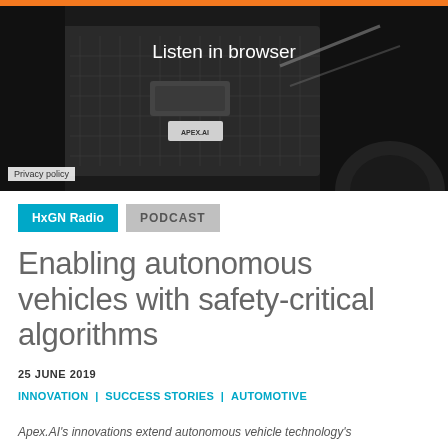[Figure (photo): Dark photo of a car front grille with license plate reading APEX.AI, with 'Listen in browser' text overlay and 'Privacy policy' label in lower left corner]
HxGN Radio
PODCAST
Enabling autonomous vehicles with safety-critical algorithms
25 JUNE 2019
INNOVATION  |  SUCCESS STORIES  |  AUTOMOTIVE
Apex.AI's innovations extend autonomous vehicle technology's